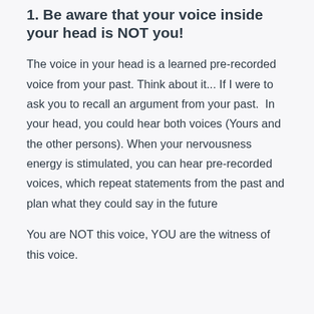1. Be aware that your voice inside your head is NOT you!
The voice in your head is a learned pre-recorded voice from your past. Think about it... If I were to ask you to recall an argument from your past.  In your head, you could hear both voices (Yours and the other persons). When your nervousness energy is stimulated, you can hear pre-recorded voices, which repeat statements from the past and plan what they could say in the future
You are NOT this voice, YOU are the witness of this voice.